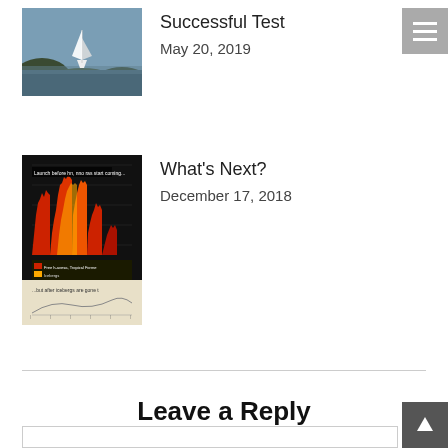[Figure (photo): Sailboat on water with hills in background]
Successful Test
May 20, 2019
[Figure (screenshot): Screenshot of a chart/histogram with dark background showing red and yellow data, with text overlays]
What's Next?
December 17, 2018
Leave a Reply
Your email address will not be published. Required fields are marked *